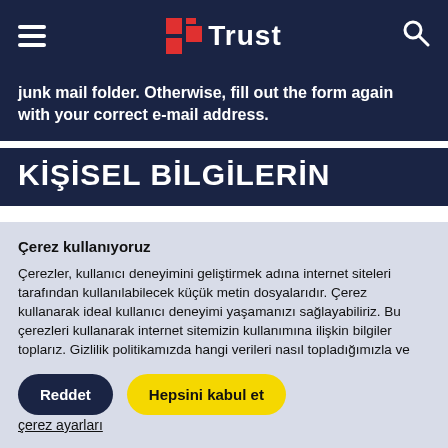Trust
junk mail folder. Otherwise, fill out the form again with your correct e-mail address.
KİŞİSEL BİLGİLERİN
Çerez kullanıyoruz
Çerezler, kullanıcı deneyimini geliştirmek adına internet siteleri tarafından kullanılabilecek küçük metin dosyalarıdır. Çerez kullanarak ideal kullanıcı deneyimi yaşamanızı sağlayabiliriz. Bu çerezleri kullanarak internet sitemizin kullanımına ilişkin bilgiler toplarız. Gizlilik politikamızda hangi verileri nasıl topladığımızla ve bunlarla ne yaptığımızla ilgili daha fazla açıklama bulabilirsiniz. Çerez politikamızla ilgili daha fazla bilgi edinin
Reddet
Hepsini kabul et
çerez ayarları